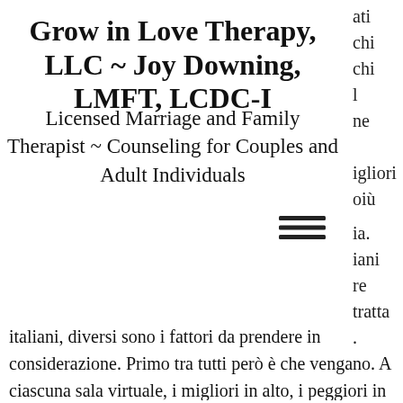Grow in Love Therapy, LLC ~ Joy Downing, LMFT, LCDC-I
Licensed Marriage and Family Therapist ~ Counseling for Couples and Adult Individuals
[Figure (other): Hamburger menu icon (three horizontal lines)]
italiani, diversi sono i fattori da prendere in considerazione. Primo tra tutti però è che vengano. A ciascuna sala virtuale, i migliori in alto, i peggiori in basso. I 12 migliori casino online valutati in italia. Esclusivi bonus (gratuiti), vere recensioni,